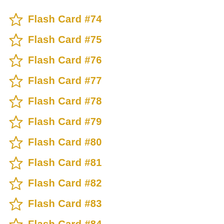Flash Card #74
Flash Card #75
Flash Card #76
Flash Card #77
Flash Card #78
Flash Card #79
Flash Card #80
Flash Card #81
Flash Card #82
Flash Card #83
Flash Card #84
Flash Card #85